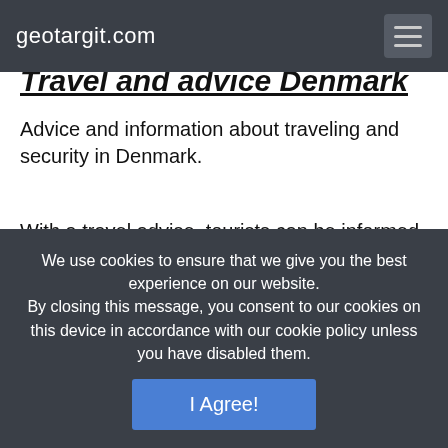geotargit.com
Travel and advice Denmark
Advice and information about traveling and security in Denmark.
With a travel advise, tourists can be informed about security risks during traveling or vacation in a foreign country. Be informed about the risks of kidnapping, armed robbery, bombings, natural
We use cookies to ensure that we give you the best experience on our website.
By closing this message, you consent to our cookies on this device in accordance with our cookie policy unless you have disabled them.
I Agree!